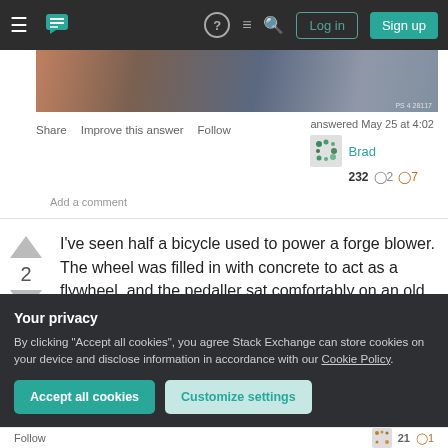Stack Exchange navigation bar with Log in and Sign up buttons
[Figure (photo): Partial cropped photo strip showing dark/warm toned image]
Share   Improve this answer   Follow
answered May 25 at 4:02
Brad
232  2  7
Add a comment
I've seen half a bicycle used to power a forge blower. The wheel was filled in with concrete to act as a flywheel, and the pedaller sat comfortably on an old sofa, providing air to the forge when required.
Your privacy
By clicking "Accept all cookies", you agree Stack Exchange can store cookies on your device and disclose information in accordance with our Cookie Policy.
Accept all cookies   Customize settings
Follow   21  1